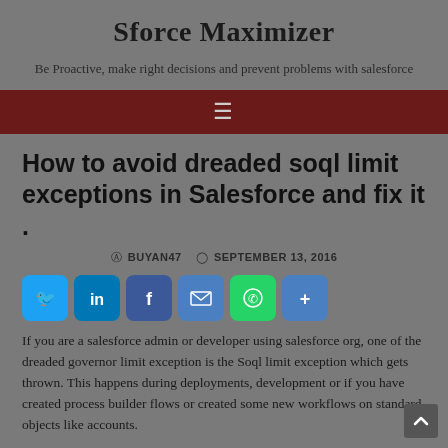Sforce Maximizer
Be Proactive, make right decisions and prevent problems with salesforce
How to avoid dreaded soql limit exceptions in Salesforce and fix it .
BUYAN47   SEPTEMBER 13, 2016
[Figure (infographic): Social media sharing buttons: Twitter, LinkedIn, Facebook, Email, WhatsApp, Share/More]
If you are a salesforce admin or developer using salesforce org, one of the dreaded governor limit exception is the Soql limit exception which gets thrown. This happens during deployments, development or if you have created process builder flows or created some new workflows on standard objects like accounts.